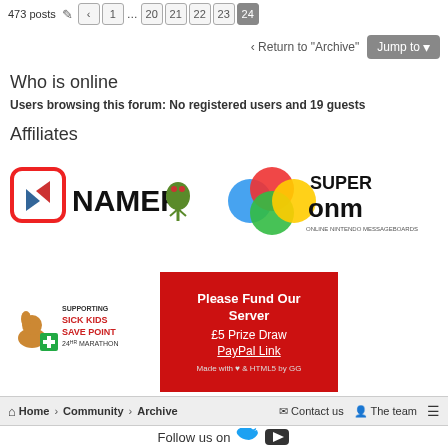473 posts  1 ... 20 21 22 23 24
‹ Return to "Archive"   Jump to
Who is online
Users browsing this forum: No registered users and 19 guests
Affiliates
[Figure (logo): Namco logo with red rounded square icon and NAMCO text with goblin mascot]
[Figure (logo): Super ONM - Online Nintendo Messageboards logo with colorful circles]
[Figure (logo): Supporting Sick Kids Save Point 24hr Marathon logo]
[Figure (infographic): Red banner: Please Fund Our Server, £5 Prize Draw, PayPal Link, Made with & HTML5 by GG]
Home › Community › Archive   Contact us   The team
Follow us on
GRcade is facilitated by community volunteers. Contact us. Powered by phpBB®. Theme by Arty, modified by GRcade. All brand assets © GRcade 2008-2022. All content © the respective owner. DMCA.